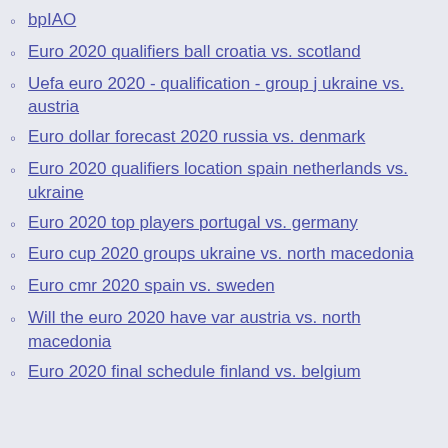bpIAO
Euro 2020 qualifiers ball croatia vs. scotland
Uefa euro 2020 - qualification - group j ukraine vs. austria
Euro dollar forecast 2020 russia vs. denmark
Euro 2020 qualifiers location spain netherlands vs. ukraine
Euro 2020 top players portugal vs. germany
Euro cup 2020 groups ukraine vs. north macedonia
Euro cmr 2020 spain vs. sweden
Will the euro 2020 have var austria vs. north macedonia
Euro 2020 final schedule finland vs. belgium